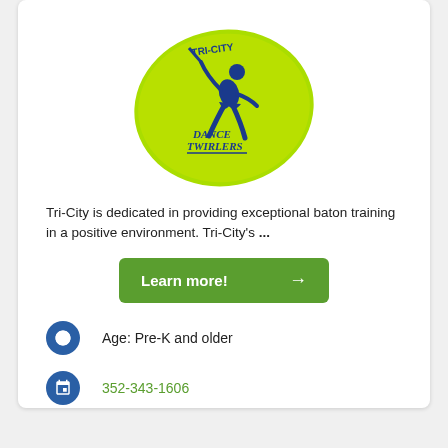[Figure (logo): Tri-City Dance Twirlers logo: green oval background with a blue silhouette of a baton twirler and text 'Tri-City Dance Twirlers']
Tri-City is dedicated in providing exceptional baton training in a positive environment. Tri-City's ...
[Figure (other): Green 'Learn more!' button with right arrow]
Age: Pre-K and older
352-343-1606
tcdtwirlers@outlook.com